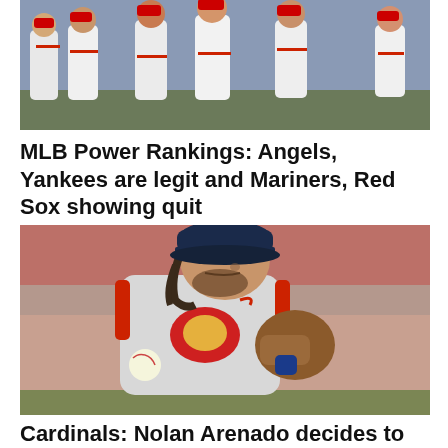[Figure (photo): Baseball players in white Red Sox uniforms on field, celebrating or interacting, cropped at top]
MLB Power Rankings: Angels, Yankees are legit and Mariners, Red Sox showing quit
[Figure (photo): St. Louis Cardinals player in gray away uniform fielding a baseball, long hair, wearing glove, holding ball]
Cardinals: Nolan Arenado decides to serve